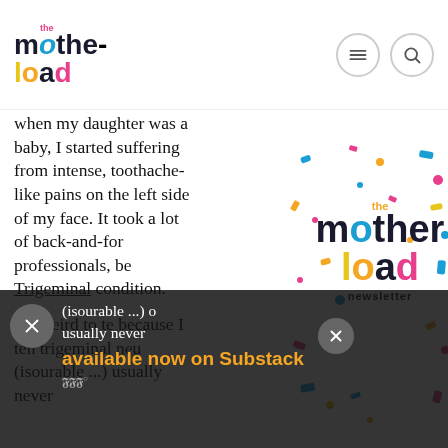the motherload
when my daughter was a baby, I started suffering from intense, toothache-like pains on the left side of my face. It took a lot of back-and-for professionals, be Trigeminal condition.
It’s weird to te because I ten trigeminal neu (isourable ...) usually never
[Figure (logo): The Motherload newsletter logo with colourful lettering and confetti scatter overlay]
available now on Substack